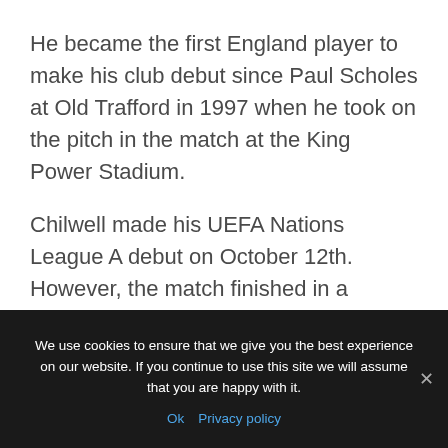He became the first England player to make his club debut since Paul Scholes at Old Trafford in 1997 when he took on the pitch in the match at the King Power Stadium.
Chilwell made his UEFA Nations League A debut on October 12th. However, the match finished in a goalless draw with Croatia in a game played behind closed doors.
We use cookies to ensure that we give you the best experience on our website. If you continue to use this site we will assume that you are happy with it.
Ok  Privacy policy